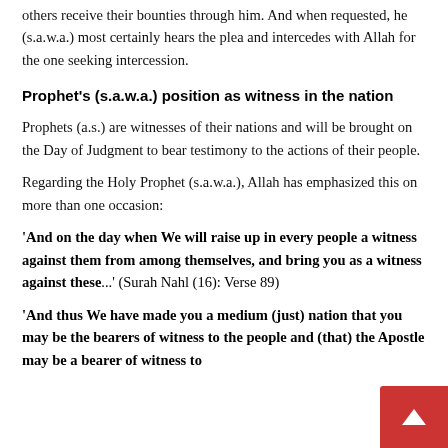others receive their bounties through him. And when requested, he (s.a.w.a.) most certainly hears the plea and intercedes with Allah for the one seeking intercession.
Prophet's (s.a.w.a.) position as witness in the nation
Prophets (a.s.) are witnesses of their nations and will be brought on the Day of Judgment to bear testimony to the actions of their people.
Regarding the Holy Prophet (s.a.w.a.), Allah has emphasized this on more than one occasion:
'And on the day when We will raise up in every people a witness against them from among themselves, and bring you as a witness against these...' (Surah Nahl (16): Verse 89)
'And thus We have made you a medium (just) nation that you may be the bearers of witness to the people and (that) the Apostle may be a bearer of witness to